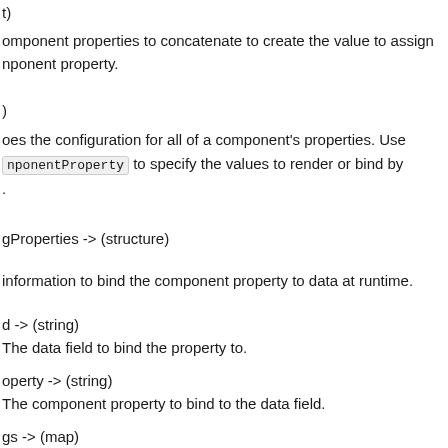t)
omponent properties to concatenate to create the value to assign nponent property.
)
oes the configuration for all of a component's properties. Use componentProperty to specify the values to render or bind by .
gProperties -> (structure)
information to bind the component property to data at runtime.
d -> (string)
The data field to bind the property to.
operty -> (string)
The component property to bind to the data field.
gs -> (map)